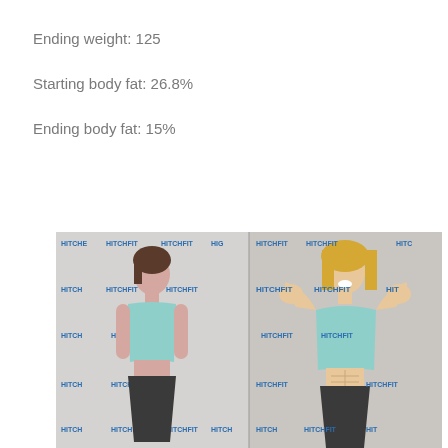Ending weight: 125
Starting body fat: 26.8%
Ending body fat: 15%
[Figure (photo): Before and after fitness transformation photos of a woman at Hitch Fit gym. Left photo shows woman in mint sports bra and black shorts standing in front of Hitch Fit branded backdrop. Right photo shows the same or similar woman flexing her arms with a smile, showing visible muscle definition, in front of Hitch Fit branded backdrop.]